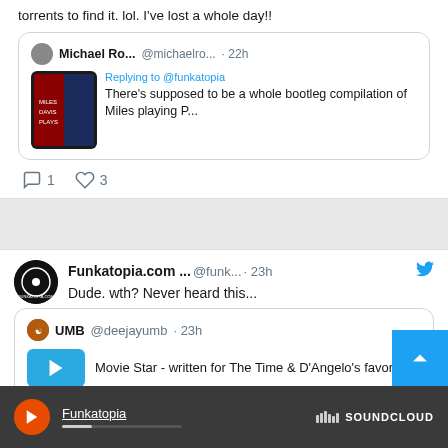torrents to find it. lol. I've lost a whole day!!
Michael Ro... @michaelro... · 22h
Replying to @funkatopia
There's supposed to be a whole bootleg compilation of Miles playing P...
♡ 1   ♡ 3
Funkatopia.com ... @funk... · 23h
Dude. wth? Never heard this...
UMB @deejayumb · 23h
Movie Star - written for The Time & D'Angelo's favorite
[Figure (screenshot): SoundCloud player bar at bottom showing Funkatopia with play button and SOUNDCLOUD logo]
[Figure (other): Blue back-to-top button with upward chevron arrow]